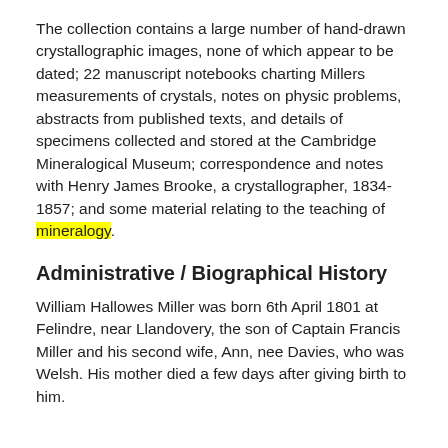The collection contains a large number of hand-drawn crystallographic images, none of which appear to be dated; 22 manuscript notebooks charting Millers measurements of crystals, notes on physic problems, abstracts from published texts, and details of specimens collected and stored at the Cambridge Mineralogical Museum; correspondence and notes with Henry James Brooke, a crystallographer, 1834-1857; and some material relating to the teaching of mineralogy.
Administrative / Biographical History
William Hallowes Miller was born 6th April 1801 at Felindre, near Llandovery, the son of Captain Francis Miller and his second wife, Ann, nee Davies, who was Welsh. His mother died a few days after giving birth to him.